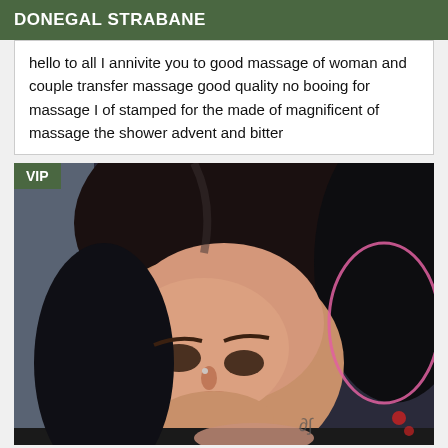DONEGAL STRABANE
hello to all I annivite you to good massage of woman and couple transfer massage good quality no booing for massage I of stamped for the made of magnificent of massage the shower advent and bitter
[Figure (photo): Close-up photo of a young woman with dark black hair, wearing a nose piercing, looking at the camera with a slight smile. A pink hoop-like accessory is visible. A VIP badge overlay appears in the top-left corner.]